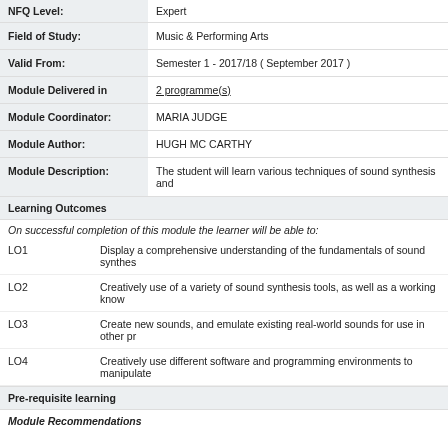| NFQ Level: | Expert |
| Field of Study: | Music & Performing Arts |
| Valid From: | Semester 1 - 2017/18 ( September 2017 ) |
| Module Delivered in | 2 programme(s) |
| Module Coordinator: | MARIA JUDGE |
| Module Author: | HUGH MC CARTHY |
| Module Description: | The student will learn various techniques of sound synthesis and |
Learning Outcomes
On successful completion of this module the learner will be able to:
LO1	Display a comprehensive understanding of the fundamentals of sound synthes...
LO2	Creatively use of a variety of sound synthesis tools, as well as a working know...
LO3	Create new sounds, and emulate existing real-world sounds for use in other pr...
LO4	Creatively use different software and programming environments to manipulate...
Pre-requisite learning
Module Recommendations